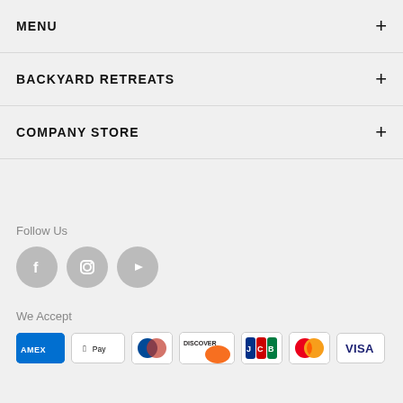MENU
BACKYARD RETREATS
COMPANY STORE
Follow Us
[Figure (illustration): Three social media icons: Facebook, Instagram, YouTube — gray circles with white icons]
We Accept
[Figure (illustration): Payment method icons: AMEX, Apple Pay, Diners Club, Discover, JCB, Mastercard, Visa]